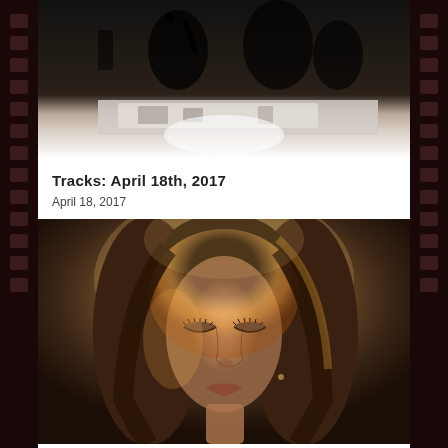[Figure (photo): Top portion of a photograph showing people at what appears to be a concert or event, partially cropped, with dark tones at top and lighter area at bottom]
Tracks: April 18th, 2017
April 18, 2017
[Figure (photo): Close-up portrait photograph of a young woman with long brown hair, eyes closed, bathed in warm golden/amber light from behind, against a soft blurred background]